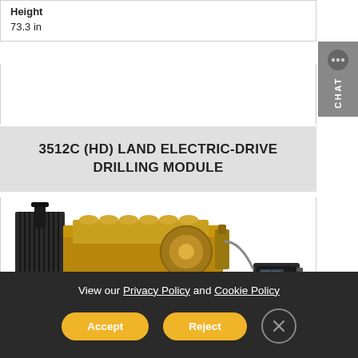| Height |
| --- |
| 73.3 in |
3512C (HD) LAND ELECTRIC-DRIVE DRILLING MODULE
[Figure (photo): Caterpillar 3512C (HD) Land Electric-Drive Drilling Module engine unit, yellow/gold colored industrial engine with black radiator/frame assembly and control panel on right side, shown from the side on a white background.]
View our Privacy Policy and Cookie Policy
Accept
Reject